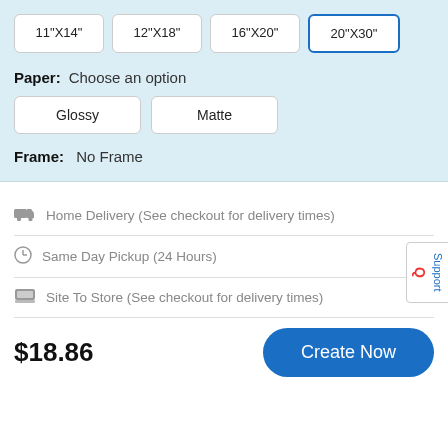11"X14"
12"X18"
16"X20"
20"X30"
Paper: Choose an option
Glossy
Matte
Frame: No Frame
Home Delivery (See checkout for delivery times)
Same Day Pickup (24 Hours)
Site To Store (See checkout for delivery times)
$18.86
Create Now